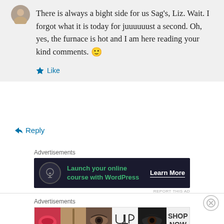There is always a bight side for us Sag's, Liz. Wait. I forgot what it is today for juuuuuust a second. Oh, yes, the furnace is hot and I am here reading your kind comments. 🙂
Like
Reply
Advertisements
[Figure (screenshot): Advertisement banner: dark background with tree/person icon, text 'Launch your online course with WordPress' in green, and 'Learn More' button]
REPORT THIS AD
Advertisements
[Figure (screenshot): ULTA beauty advertisement showing makeup images: lips with lipstick, makeup brush, eye close-up, ULTA logo, eye with dramatic makeup, and SHOP NOW text]
REPORT THIS AD